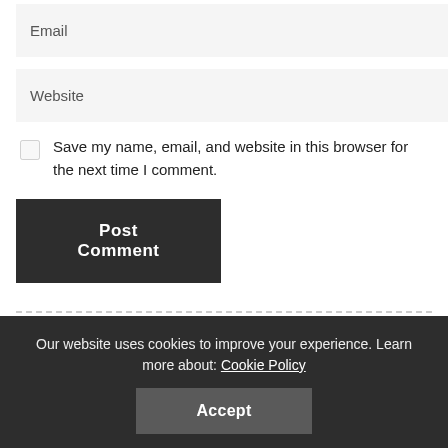Email
Website
Save my name, email, and website in this browser for the next time I comment.
Post Comment
You Might Also Enjoy
Refinance Your Mortgage With a Low
Our website uses cookies to improve your experience. Learn more about: Cookie Policy
Accept